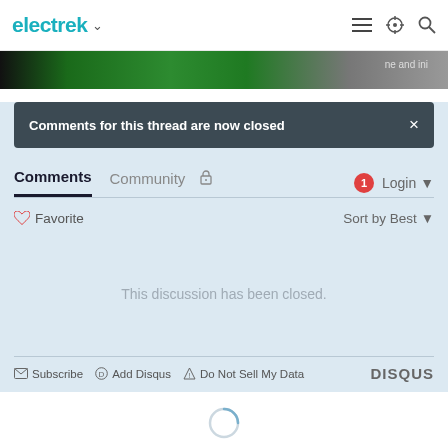electrek
[Figure (photo): Partial image strip showing green background with text fragments]
Comments for this thread are now closed
Comments  Community  Login
Favorite  Sort by Best
This discussion has been closed.
Subscribe  Add Disqus  Do Not Sell My Data  DISQUS